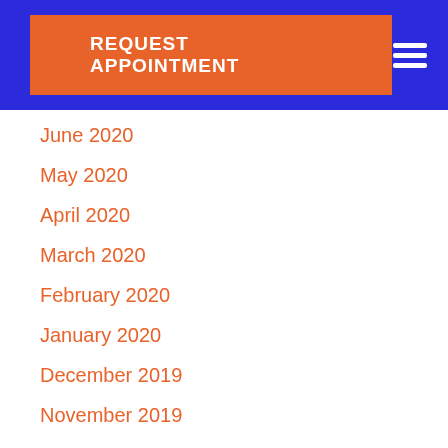REQUEST APPOINTMENT
June 2020
May 2020
April 2020
March 2020
February 2020
January 2020
December 2019
November 2019
June 2019
May 2019
April 2019